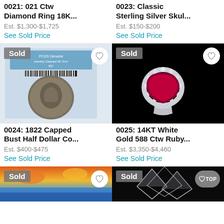0021: 021 Ctw Diamond Ring 18K...
Est. $1,300-$1,725
See Sold Price
0023: Classic Sterling Silver Skul...
Est. $150-$200
See Sold Price
[Figure (photo): PCGS graded coin in plastic slab holder showing 1822 Capped Bust Half Dollar, with Sold badge and heart icon]
[Figure (photo): 14KT white gold ring with large pear-shaped ruby surrounded by diamonds on black background, with Sold badge and heart icon]
0024: 1822 Capped Bust Half Dollar Co...
Est. $400-$475
See Sold Price
0025: 14KT White Gold 588 Ctw Ruby...
Est. $3,350-$4,460
See Sold Price
[Figure (photo): Colorful abstract landscape painting with orange sky and blue water, with Sold badge and heart icon]
[Figure (photo): Dark background with geometric diamond/crystal shapes, with Sold badge and TOP navigation button]